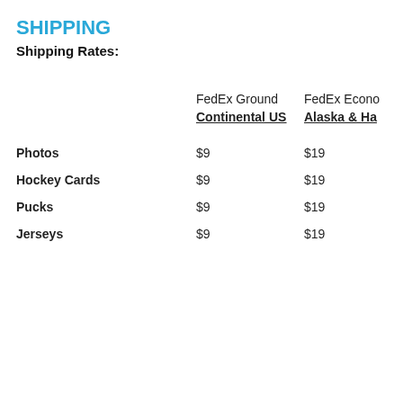SHIPPING
Shipping Rates:
|  | FedEx Ground | FedEx Econo |
| --- | --- | --- |
|  | Continental US | Alaska & Ha |
| Photos | $9 | $19 |
| Hockey Cards | $9 | $19 |
| Pucks | $9 | $19 |
| Jerseys | $9 | $19 |